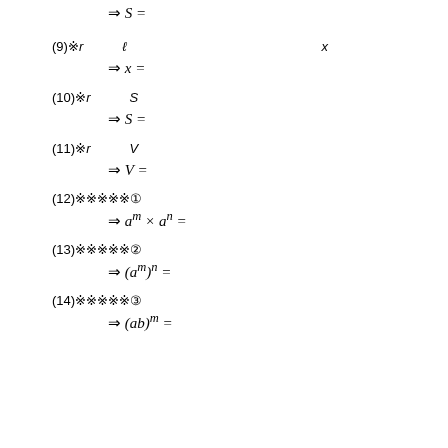(9) r、ℓを使って x を表せ
(10) r を使って S を表せ
(11) r を使って V を表せ
(12) 指数法則①
(13) 指数法則②
(14) 指数法則③